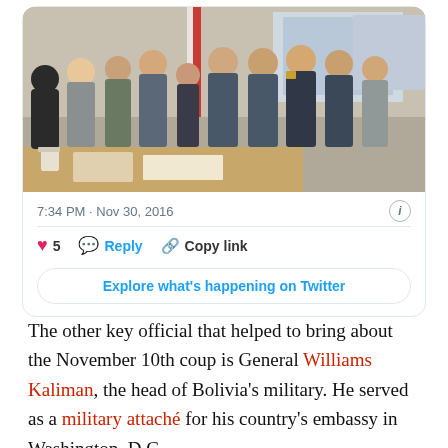[Figure (photo): Group photo of approximately 10 military officials in uniform posing together indoors, with a flag visible in the background and papers on a table in front.]
7:34 PM · Nov 30, 2016
5   Reply   Copy link
Explore what's happening on Twitter
The other key official that helped to bring about the November 10th coup is General Williams Kaliman, the head of Bolivia's military. He served as a military attaché for his country's embassy in Washington, D.C.